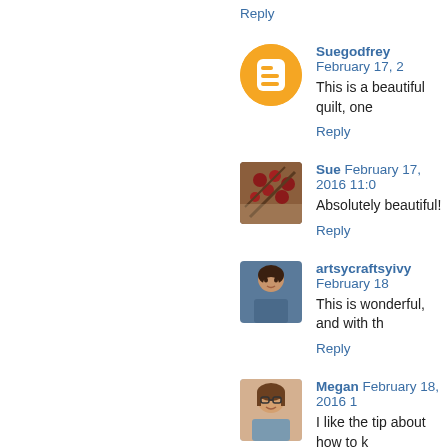Reply
Suegodfrey February 17, 2...
This is a beautiful quilt, one...
Reply
Sue February 17, 2016 11:0...
Absolutely beautiful!
Reply
artsycraftsyivy February 18...
This is wonderful, and with th...
Reply
Megan February 18, 2016 1...
I like the tip about how to k... about that exactly.
Reply